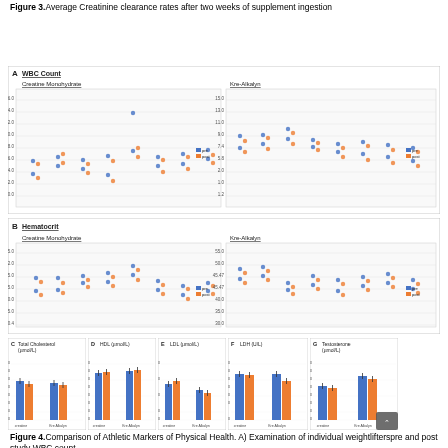Figure 3.Average Creatinine clearance rates after two weeks of supplement ingestion
[Figure (continuous-plot): Panel A: WBC Count scatter plots for Creatine Monohydrate (left) and Kre-Alkalyn (right), showing individual data points pre and post study]
[Figure (continuous-plot): Panel B: Hematocrit scatter plots for Creatine Monohydrate (left) and Kre-Alkalyn (right), showing individual data points pre and post study]
[Figure (grouped-bar-chart): C Total Cholesterol (µmol/L)]
[Figure (grouped-bar-chart): D HDL (µmol/L)]
[Figure (grouped-bar-chart): E LDL (µmol/L)]
[Figure (grouped-bar-chart): F LDH (U/L)]
[Figure (grouped-bar-chart): G Testosterone (µmol/L)]
Figure 4.Comparison of Athletic Markers of Physical Health. A) Examination of individual weightlifterspre and post study WBC count